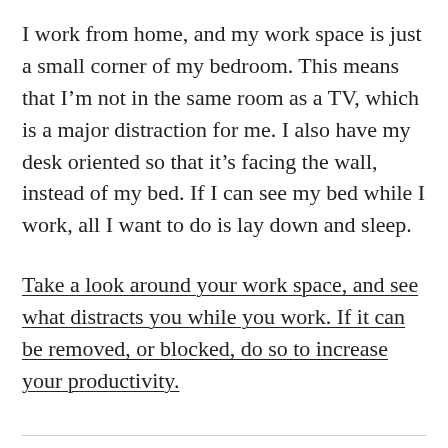I work from home, and my work space is just a small corner of my bedroom. This means that I'm not in the same room as a TV, which is a major distraction for me. I also have my desk oriented so that it's facing the wall, instead of my bed. If I can see my bed while I work, all I want to do is lay down and sleep.
Take a look around your work space, and see what distracts you while you work. If it can be removed, or blocked, do so to increase your productivity.